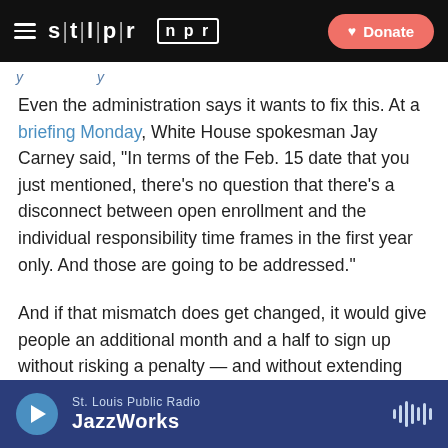STLPR NPR Donate
Even the administration says it wants to fix this. At a briefing Monday, White House spokesman Jay Carney said, "In terms of the Feb. 15 date that you just mentioned, there's no question that there's a disconnect between open enrollment and the individual responsibility time frames in the first year only. And those are going to be addressed."
And if that mismatch does get changed, it would give people an additional month and a half to sign up without risking a penalty — and without extending the existing open enrollment date.
St. Louis Public Radio JazzWorks